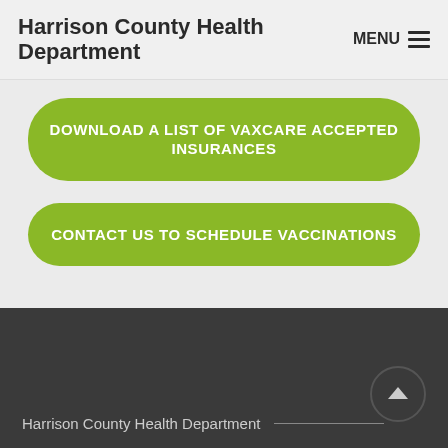Harrison County Health Department
DOWNLOAD A LIST OF VAXCARE ACCEPTED INSURANCES
CONTACT US TO SCHEDULE VACCINATIONS
Harrison County Health Department